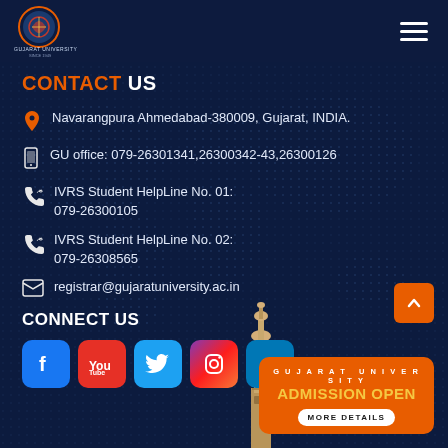Gujarat University logo and navigation
CONTACT US
Navarangpura Ahmedabad-380009, Gujarat, INDIA.
GU office: 079-26301341,26300342-43,26300126
IVRS Student HelpLine No. 01: 079-26300105
IVRS Student HelpLine No. 02: 079-26308565
registrar@gujaratuniversity.ac.in
CONNECT US
[Figure (infographic): Social media icons: Facebook, YouTube, Twitter, Instagram, LinkedIn]
[Figure (photo): Gujarat University tower/minaret building]
GUJARAT UNIVERSITY ADMISSION OPEN MORE DETAILS